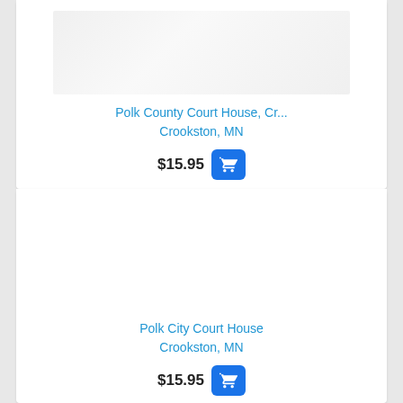[Figure (photo): Faded/watermarked photo of Polk County Court House]
Polk County Court House, Cr...
Crookston, MN
$15.95
[Figure (photo): White/blank image area for Polk City Court House]
Polk City Court House
Crookston, MN
$15.95